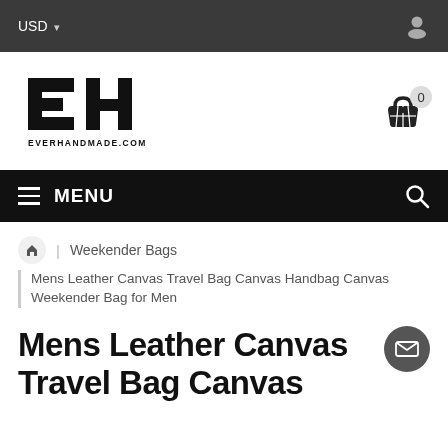USD
[Figure (logo): EverHandmade.com logo — bold geometric EH monogram with text EVERHANDMADE.COM below]
MENU
Weekender Bags
Mens Leather Canvas Travel Bag Canvas Handbag Canvas Weekender Bag for Men
Mens Leather Canvas Travel Bag Canvas